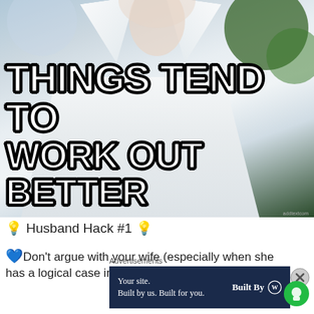[Figure (photo): Meme image showing a man in a white dress shirt with large bold white-outlined text reading 'THINGS TEND TO WORK OUT BETTER']
💡 Husband Hack #1 💡
💙Don't argue with your wife (especially when she has a logical case in her favor).
Advertisements
[Figure (infographic): Dark navy advertisement banner reading 'Your site. Built by us. Built for you.' with 'Built By' and WordPress logo on the right]